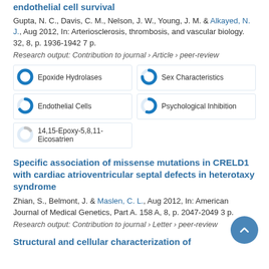endothelial cell survival
Gupta, N. C., Davis, C. M., Nelson, J. W., Young, J. M. & Alkayed, N. J., Aug 2012, In: Arteriosclerosis, thrombosis, and vascular biology. 32, 8, p. 1936-1942 7 p.
Research output: Contribution to journal › Article › peer-review
[Figure (infographic): Keyword badges with donut/circle icons: Epoxide Hydrolases (100%), Sex Characteristics (~75%), Endothelial Cells (~65%), Psychological Inhibition (~55%), 14,15-Epoxy-5,8,11-Eicosatrien (~15%)]
Specific association of missense mutations in CRELD1 with cardiac atrioventricular septal defects in heterotaxy syndrome
Zhian, S., Belmont, J. & Maslen, C. L., Aug 2012, In: American Journal of Medical Genetics, Part A. 158 A, 8, p. 2047-2049 3 p.
Research output: Contribution to journal › Letter › peer-review
Structural and cellular characterization of